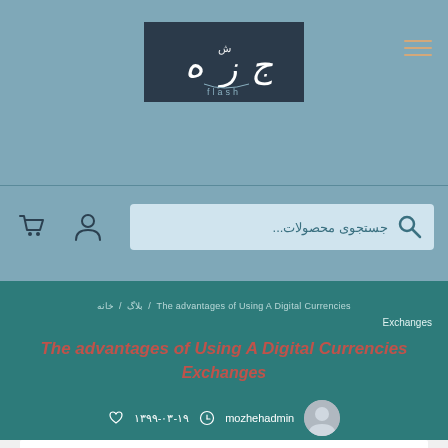[Figure (logo): Dark navy logo box with Arabic/Persian stylized text and latin text 'flash' at bottom]
[Figure (infographic): Hamburger menu icon - three horizontal orange/tan lines]
[Figure (infographic): Shopping cart icon and user/person icon on left side of search bar]
جستجوی محصولات...
The advantages of Using A Digital Currencies / بلاگ / خانه
Exchanges
The advantages of Using A Digital Currencies Exchanges
mozhehadmin  ۱۳۹۹-۰۳-۱۹